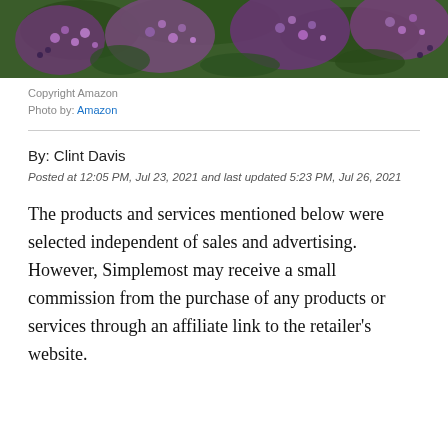[Figure (photo): Close-up photo of purple lilac flowers and green leaves]
Copyright Amazon
Photo by: Amazon
By: Clint Davis
Posted at 12:05 PM, Jul 23, 2021 and last updated 5:23 PM, Jul 26, 2021
The products and services mentioned below were selected independent of sales and advertising. However, Simplemost may receive a small commission from the purchase of any products or services through an affiliate link to the retailer's website.